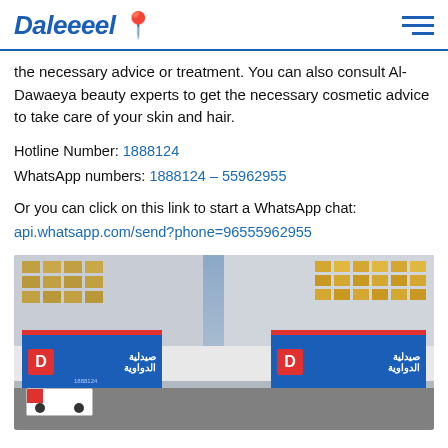Daleeeel 📍
the necessary advice or treatment. You can also consult Al-Dawaeya beauty experts to get the necessary cosmetic advice to take care of your skin and hair.
Hotline Number: 1888124
WhatsApp numbers: 1888124 – 55962955
Or you can click on this link to start a WhatsApp chat:
api.whatsapp.com/send?phone=96555962955
[Figure (photo): Exterior photo of Al-Dawaeya (الدواوية) pharmacy building showing blue signage with red accents, Arabic text, and an ambulance parked outside. Multi-story building with large windows visible in background.]